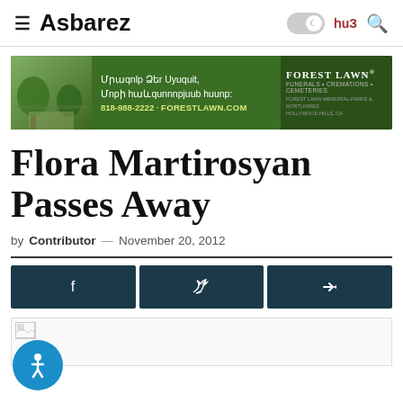≡ Asbarez | ☽ ՀՅ 🔍
[Figure (other): Forest Lawn advertisement banner with Armenian text: Մրաqnlp Ձեr Uyuquit, Մnpի հuևqunnnpjuub հuunp: 818-988-2222 · ForestLawn.com, Forest Lawn® Funerals • Cremations • Cemeteries]
Flora Martirosyan Passes Away
by Contributor — November 20, 2012
[Figure (other): Social share bar with Facebook, Twitter, and share buttons on dark teal background]
[Figure (photo): Article image placeholder at bottom of page]
[Figure (other): Blue circular accessibility icon button in bottom left corner]